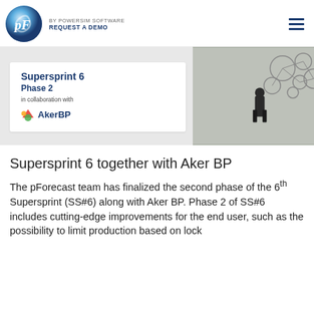BY POWERSIM SOFTWARE  REQUEST A DEMO
[Figure (illustration): Supersprint 6 Phase 2 in collaboration with AkerBP banner card on grey background with a photo of a man standing in front of a concrete wall with circle network diagram drawn on it]
Supersprint 6 together with Aker BP
The pForecast team has finalized the second phase of the 6th Supersprint (SS#6) along with Aker BP. Phase 2 of SS#6 includes cutting-edge improvements for the end user, such as the possibility to limit production based on lock